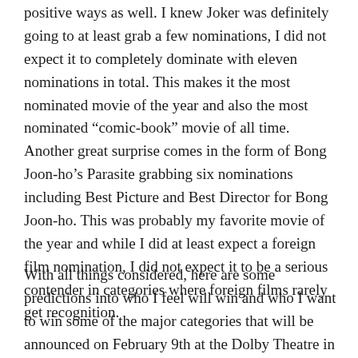positive ways as well. I knew Joker was definitely going to at least grab a few nominations, I did not expect it to completely dominate with eleven nominations in total. This makes it the most nominated movie of the year and also the most nominated “comic-book” movie of all time. Another great surprise comes in the form of Bong Joon-ho’s Parasite grabbing six nominations including Best Picture and Best Director for Bong Joon-ho. This was probably my favorite movie of the year and while I did at least expect a foreign film nomination, I did not expect it to be a serious contender in categories where foreign films rarely get recognition.
With all things considered, here are some predictions into who I feel will win and who I want to win some of the major categories that will be announced on February 9th at the Dolby Theatre in Hollywood.